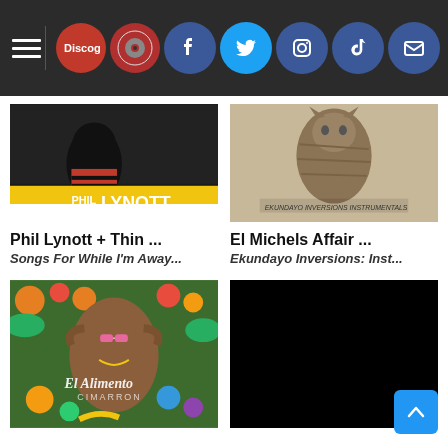Navigation bar with hamburger menu, Discogs logo, Record logo, Facebook, Twitter, Instagram, TikTok, Email icons
[Figure (photo): Phil Lynott album cover - Songs For While I'm Away, dark background with person in red/black striped shirt, yellow text Phil Lynott]
[Figure (photo): El Michels Affair - Ekundayo Inversions Instrumentals album cover, beige background with cat illustration]
Phil Lynott + Thin ...
Songs For While I'm Away...
El Michels Affair ...
Ekundayo Inversions: Inst...
[Figure (photo): El Alimento Cimarron album cover - person lying among fruits and vegetables]
[Figure (photo): Black/dark album cover placeholder]